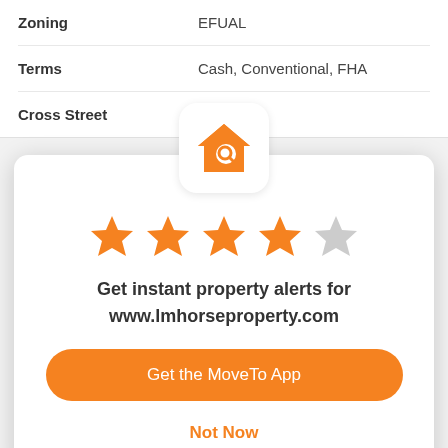| Zoning | EFUAL |
| Terms | Cash, Conventional, FHA |
| Cross Street | utte Rd |
[Figure (logo): House search app icon — orange house with a magnifying glass, on white rounded square background]
[Figure (other): 4 out of 5 stars rating — four filled orange stars and one empty/grey star]
Get instant property alerts for www.lmhorseproperty.com
Get the MoveTo App
Not Now